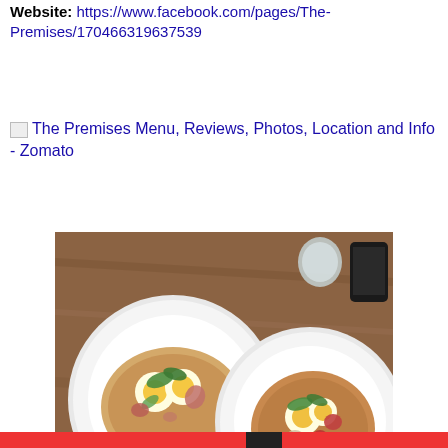Website: https://www.facebook.com/pages/The-Premises/170466319637539
[Figure (photo): Screenshot link with broken image icon linking to 'The Premises Menu, Reviews, Photos, Location and Info - Zomato']
[Figure (photo): Top-down photo of two white plates on a wooden table, each with flatbread topped with eggs, vegetables, and garnishes]
Privacy & Cookies: This site uses cookies. By continuing to use this website, you agree to their use.
To find out more, including how to control cookies, see here: Cookie Policy
Close and accept